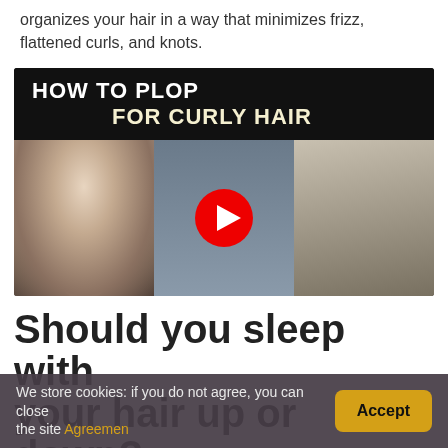organizes your hair in a way that minimizes frizz, flattened curls, and knots.
[Figure (screenshot): Video thumbnail titled 'HOW TO PLOP FOR CURLY HAIR' showing three panels: a person wrapping hair in a towel (back view), a YouTube play button overlay on a person with covered head, and a woman smiling with curly hair.]
Should you sleep with your hair up or down?
We store cookies: if you do not agree, you can close the site Agreement